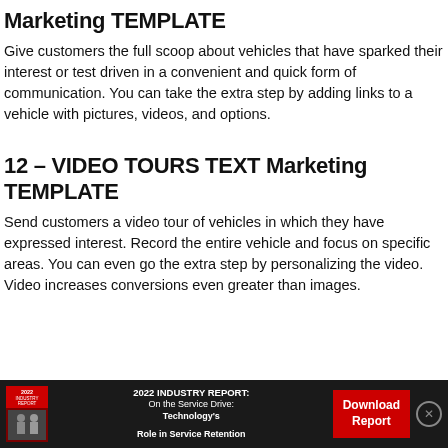Marketing TEMPLATE
Give customers the full scoop about vehicles that have sparked their interest or test driven in a convenient and quick form of communication. You can take the extra step by adding links to a vehicle with pictures, videos, and options.
12 – VIDEO TOURS TEXT Marketing TEMPLATE
Send customers a video tour of vehicles in which they have expressed interest. Record the entire vehicle and focus on specific areas. You can even go the extra step by personalizing the video. Video increases conversions even greater than images.
[Figure (infographic): Dark banner advertisement for 2022 Industry Report: On the Service Drive: Technology's Role in Service Retention, with a book thumbnail image, text, a red Download Report button, and a close X button.]